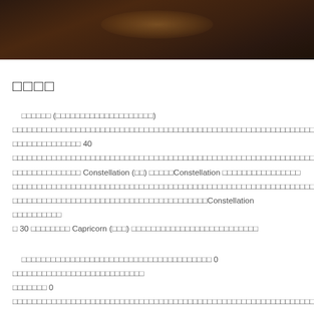[Figure (photo): Dark reddish-brown night sky or astronomical photograph, possibly showing a faint glow or celestial object against a dark background.]
□□□□
□□□□□□ (□□□□□□□□□□□□□□□□□□□□) □□□□□□□□□□□□□□□□□□□□□□□□□□□□□□□□□□□□□□□□□□□□□□□□ 40 □□□□□□□□□□□□□□□□□□□□□□□□□□□□□□□□□□□□□□□□□□□□□□□□□□□□□□□□□ Constellation (□□) □□□□□Constellation □□□□□□□□□□□□□□□□□□□□□□□□□□□□□□□□□□□□□□□□□□□□□□□□□□□□□□□□□□□□□□□□□□□□□□□□□□□□□□□□□□□Constellation □□□□□□□□□□ 30 □□□□□□□□ Capricorn (□□□) □□□□□□□□□□□□□□□□□□□□
□□□□□□□□□□□□□□□□□□□□□□□□□□□□□□□□□□□ 0 □□□□□□□□□□□□□□□□□□□□□□□□□□□□□ 0 □□□□□□□□□□□□□□□□□□□□□□□□□□□□□□□□□□□□□□□□□□□□□